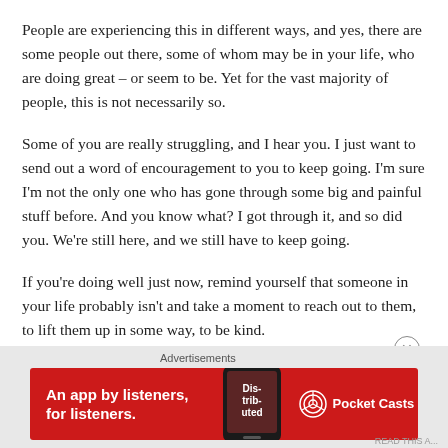People are experiencing this in different ways, and yes, there are some people out there, some of whom may be in your life, who are doing great – or seem to be. Yet for the vast majority of people, this is not necessarily so.
Some of you are really struggling, and I hear you. I just want to send out a word of encouragement to you to keep going. I'm sure I'm not the only one who has gone through some big and painful stuff before. And you know what? I got through it, and so did you. We're still here, and we still have to keep going.
If you're doing well just now, remind yourself that someone in your life probably isn't and take a moment to reach out to them, to lift them up in some way, to be kind.
Advertisements
[Figure (infographic): Red advertisement banner for Pocket Casts app. Left side shows bold white text 'An app by listeners, for listeners.' Center shows a smartphone image with 'Dis-trib-uted' text on screen. Right side shows Pocket Casts logo (circular icon) with text 'Pocket Casts' in white.]